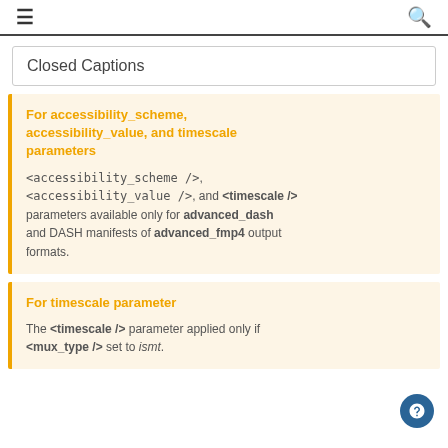≡  🔍
Closed Captions
For accessibility_scheme, accessibility_value, and timescale parameters
<accessibility_scheme />, <accessibility_value />, and <timescale /> parameters available only for advanced_dash and DASH manifests of advanced_fmp4 output formats.
For timescale parameter
The <timescale /> parameter applied only if <mux_type /> set to ismt.